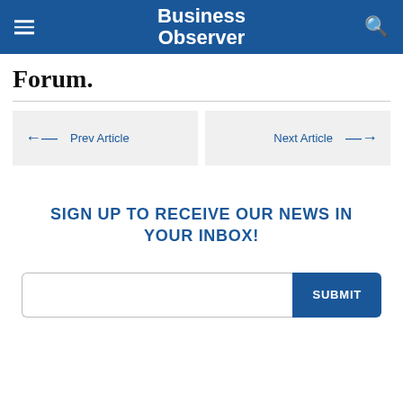Business Observer
Forum.
Prev Article
Next Article
SIGN UP TO RECEIVE OUR NEWS IN YOUR INBOX!
SUBMIT